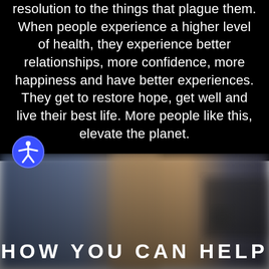resolution to the things that plague them. When people experience a higher level of health, they experience better relationships, more confidence, more happiness and have better experiences. They get to restore hope, get well and live their best life. More people like this, elevate the planet.
[Figure (photo): Accessibility icon — a blue circle with a white figure in a pose suggesting a person with outstretched arms, representing accessibility features]
[Figure (photo): Blurred background photo showing an abstract scene with muted blue, tan, and dark tones, possibly a door or wall corner]
HOW YOU CAN HELP